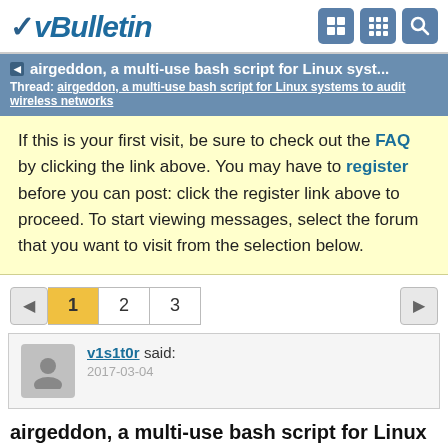vBulletin
airgeddon, a multi-use bash script for Linux syst...
Thread: airgeddon, a multi-use bash script for Linux systems to audit wireless networks
If this is your first visit, be sure to check out the FAQ by clicking the link above. You may have to register before you can post: click the register link above to proceed. To start viewing messages, select the forum that you want to visit from the selection below.
1 2 3
v1s1t0r said: 2017-03-04
airgeddon, a multi-use bash script for Linux systems to audit wireless networks